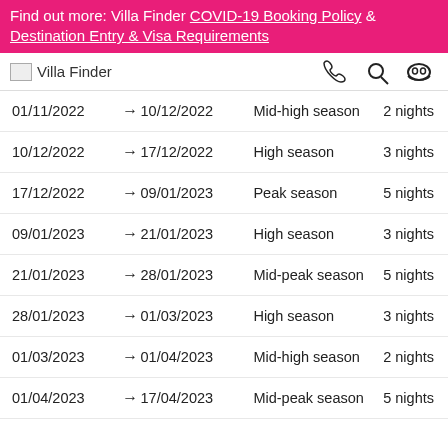Find out more: Villa Finder COVID-19 Booking Policy & Destination Entry & Visa Requirements
[Figure (logo): Villa Finder logo and navigation icons (phone, search, user)]
| From |  | To | Season | Min nights |
| --- | --- | --- | --- | --- |
| 01/11/2022 | → | 10/12/2022 | Mid-high season | 2 nights |
| 10/12/2022 | → | 17/12/2022 | High season | 3 nights |
| 17/12/2022 | → | 09/01/2023 | Peak season | 5 nights |
| 09/01/2023 | → | 21/01/2023 | High season | 3 nights |
| 21/01/2023 | → | 28/01/2023 | Mid-peak season | 5 nights |
| 28/01/2023 | → | 01/03/2023 | High season | 3 nights |
| 01/03/2023 | → | 01/04/2023 | Mid-high season | 2 nights |
| 01/04/2023 | → | 17/04/2023 | Mid-peak season | 5 nights |